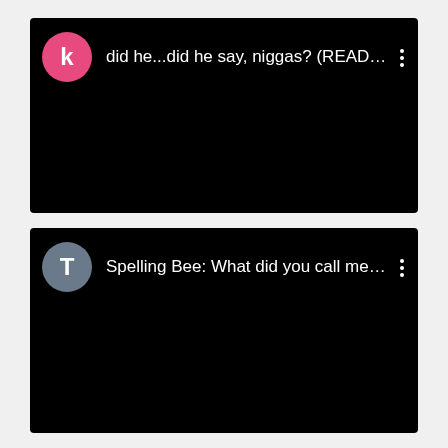[Figure (screenshot): Screenshot of a YouTube video thumbnail with pink avatar labeled 'k' and title text: did he...did he say, niggas? (READ T...]
[Figure (screenshot): Screenshot of a YouTube video thumbnail with gray avatar labeled 'T' and title text: Spelling Bee: What did you call me?!?]